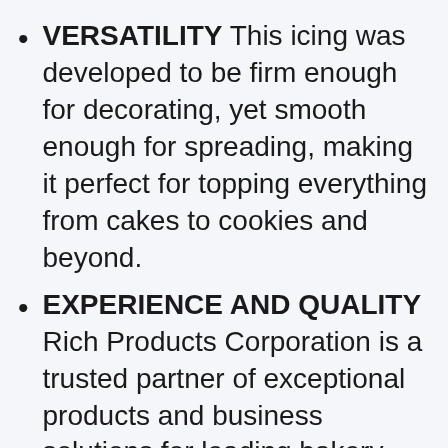VERSATILITY This icing was developed to be firm enough for decorating, yet smooth enough for spreading, making it perfect for topping everything from cakes to cookies and beyond.
EXPERIENCE AND QUALITY Rich Products Corporation is a trusted partner of exceptional products and business solutions for leading bakery and foodservice outlets around the globe.
FABULOUS FLAVOR Our